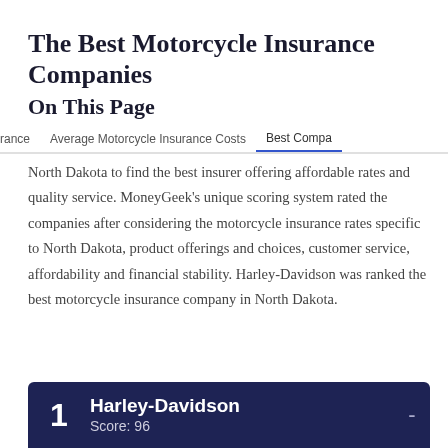The Best Motorcycle Insurance Companies
On This Page
rance   Average Motorcycle Insurance Costs   Best Compa
North Dakota to find the best insurer offering affordable rates and quality service. MoneyGeek's unique scoring system rated the companies after considering the motorcycle insurance rates specific to North Dakota, product offerings and choices, customer service, affordability and financial stability. Harley-Davidson was ranked the best motorcycle insurance company in North Dakota.
Expand All Rankings +
1  Harley-Davidson  Score: 96  -